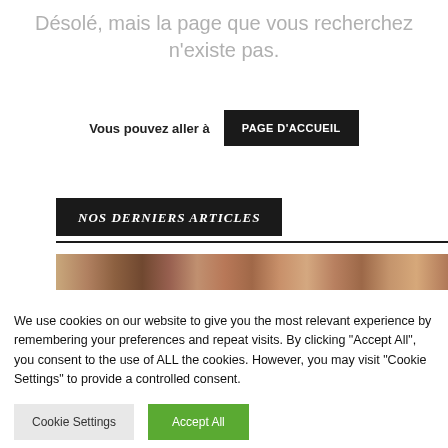Désolé, mais la page que vous recherchez n'existe pas.
Vous pouvez aller à PAGE D'ACCUEIL
NOS DERNIERS ARTICLES
[Figure (photo): Partial image strip showing blurred/cropped photo content]
We use cookies on our website to give you the most relevant experience by remembering your preferences and repeat visits. By clicking "Accept All", you consent to the use of ALL the cookies. However, you may visit "Cookie Settings" to provide a controlled consent.
Cookie Settings   Accept All